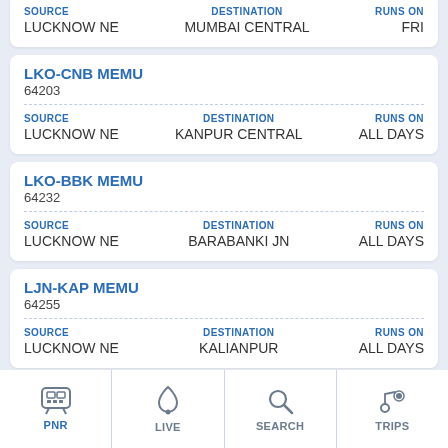SOURCE: LUCKNOW NE | DESTINATION: MUMBAI CENTRAL | RUNS ON: FRI
LKO-CNB MEMU 64203 | SOURCE: LUCKNOW NE | DESTINATION: KANPUR CENTRAL | RUNS ON: ALL DAYS
LKO-BBK MEMU 64232 | SOURCE: LUCKNOW NE | DESTINATION: BARABANKI JN | RUNS ON: ALL DAYS
LJN-KAP MEMU 64255 | SOURCE: LUCKNOW NE | DESTINATION: KALIANPUR | RUNS ON: ALL DAYS
LJN- MEMU 6425... (partial)
PNR | LIVE | SEARCH | TRIPS